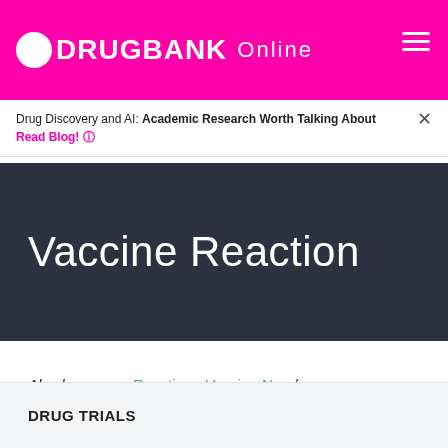DRUGBANK Online
Drug Discovery and AI: Academic Research Worth Talking About
Read Blog!
Vaccine Reaction
Also known as: Reaction - Vaccine Nos / Reaction - Vaccine
DRUG TRIALS